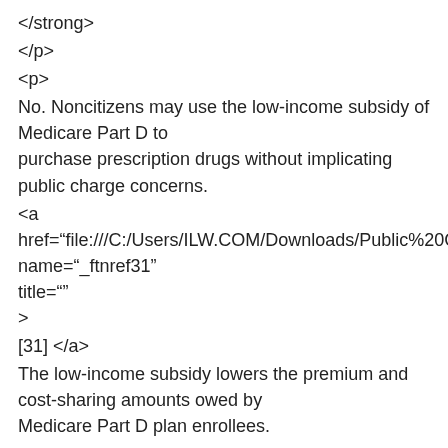</strong>
</p>
<p>
No. Noncitizens may use the low-income subsidy of Medicare Part D to purchase prescription drugs without implicating public charge concerns.
<a href="file:///C:/Users/ILW.COM/Downloads/Public%20Cha name="_ftnref31" title="" >
[31] </a>
The low-income subsidy lowers the premium and cost-sharing amounts owed by Medicare Part D plan enrollees.
<a